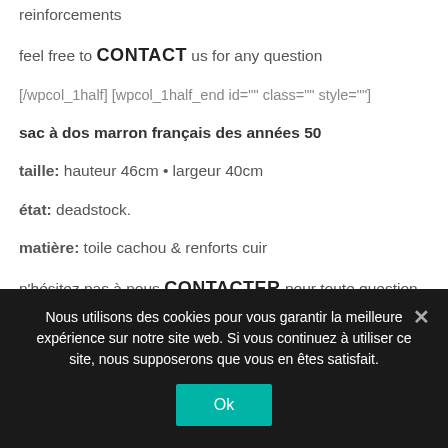reinforcements
feel free to CONTACT us for any question
[/wpcol_1half] [wpcol_1half_end id="" class="" style=""]
sac à dos marron français des années 50
taille: hauteur 46cm • largeur 40cm
état: deadstock.
matière: toile cachou & renforts cuir
n'hésitez pas à nous CONTACTER pour toute question
Nous utilisons des cookies pour vous garantir la meilleure expérience sur notre site web. Si vous continuez à utiliser ce site, nous supposerons que vous en êtes satisfait.